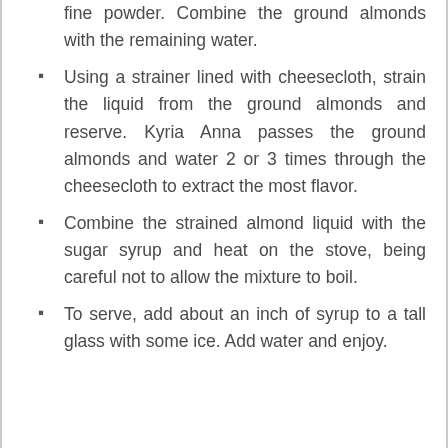fine powder. Combine the ground almonds with the remaining water.
Using a strainer lined with cheesecloth, strain the liquid from the ground almonds and reserve. Kyria Anna passes the ground almonds and water 2 or 3 times through the cheesecloth to extract the most flavor.
Combine the strained almond liquid with the sugar syrup and heat on the stove, being careful not to allow the mixture to boil.
To serve, add about an inch of syrup to a tall glass with some ice. Add water and enjoy.